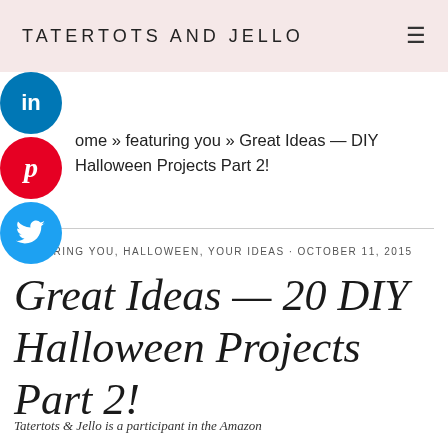TATERTOTS AND JELLO
[Figure (illustration): Three circular social media share buttons stacked vertically on the left side: LinkedIn (blue), Pinterest (red), Twitter (blue)]
ome » featuring you » Great Ideas — DIY Halloween Projects Part 2!
FEATURING YOU, HALLOWEEN, YOUR IDEAS · OCTOBER 11, 2015
Great Ideas — 20 DIY Halloween Projects Part 2!
Tatertots & Jello is a participant in the Amazon